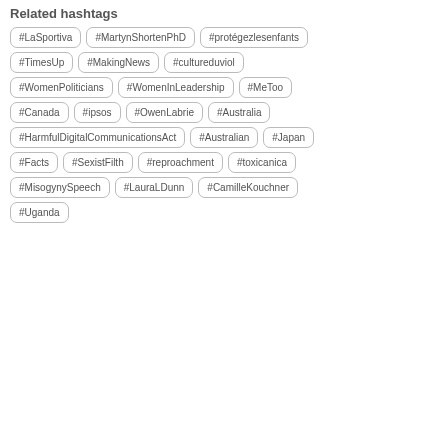Related hashtags
#LaSportiva
#MartynShortenPhD
#protégezlesenfants
#TimesUp
#MakingNews
#cultureduviol
#WomenPoliticians
#WomenInLeadership
#MeToo
#Canada
#ipsos
#OwenLabrie
#Australia
#HarmfulDigitalCommunicationsAct
#Australian
#Japan
#Facts
#SexistFilth
#reproachment
#toxicanica
#MisogynySpeech
#LauraLDunn
#CamilleKouchner
#Uganda